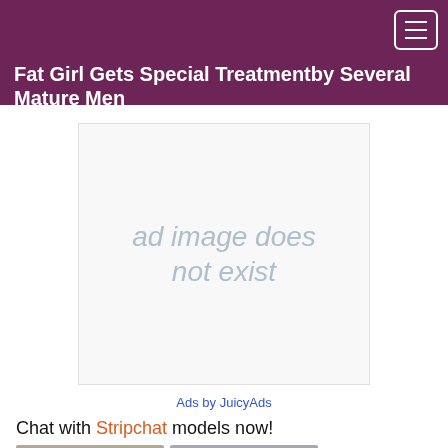Fat Girl Gets Special Treatmentby Several Mature Men
[Figure (other): Ad image placeholder showing text 'ad image does not exist' in grey italic lettering on a light background]
Ads by JuicyAds
Chat with Stripchat models now!
[Figure (photo): Two thumbnail images of live video chat models with LIVE badge overlays]